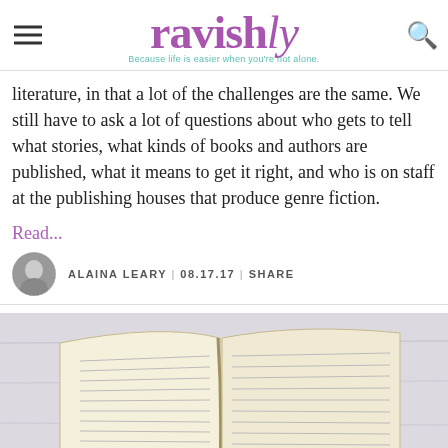ravishly — Because life is easier when you're not alone.
literature, in that a lot of the challenges are the same. We still have to ask a lot of questions about who gets to tell what stories, what kinds of books and authors are published, what it means to get it right, and who is on staff at the publishing houses that produce genre fiction.
Read...
ALAINA LEARY | 08.17.17 | SHARE
[Figure (photo): Open book lying flat, pages fanned open, on a light wooden surface with a blue bookmark visible]